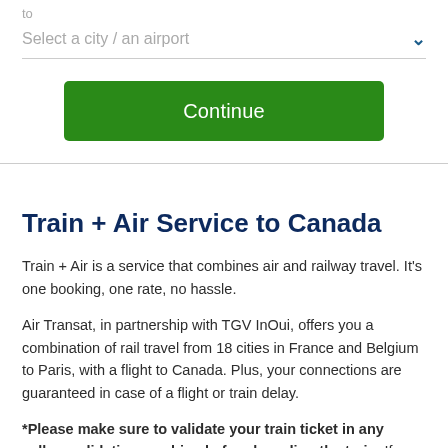to
Select a city / an airport
Continue
Train + Air Service to Canada
Train + Air is a service that combines air and railway travel. It’s one booking, one rate, no hassle.
Air Transat, in partnership with TGV InOui, offers you a combination of rail travel from 18 cities in France and Belgium to Paris, with a flight to Canada. Plus, your connections are guaranteed in case of a flight or train delay.
*Please make sure to validate your train ticket in any yellow validation machine before boarding the train. If you have not